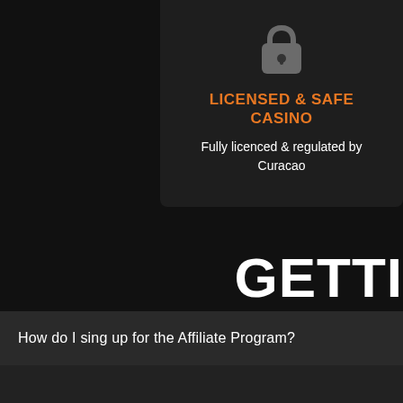[Figure (illustration): Lock icon (padlock) in dark gray, centered above the licensed text]
LICENSED & SAFE CASINO
Fully licenced & regulated by Curacao
GETTI
How do I sing up for the Affiliate Program?